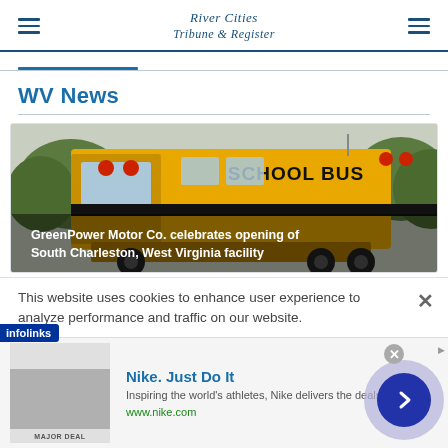River Cities Tribune & Register
WV News
[Figure (photo): Yellow school bus with 'SCHOOL BUS' text on the front, with trees visible in the background]
GreenPower Motor Co. celebrates opening of South Charleston, West Virginia facility
This website uses cookies to enhance user experience to analyze performance and traffic on our website.
[Figure (screenshot): Nike advertisement: 'Nike. Just Do It' with tagline 'Inspiring the world's athletes, Nike delivers the deals' and URL www.nike.com, with a navigation arrow button]